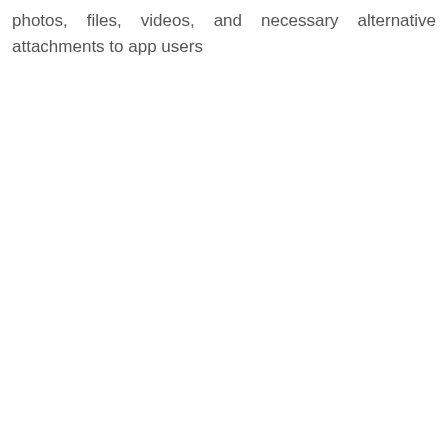photos, files, videos, and necessary alternative attachments to app users